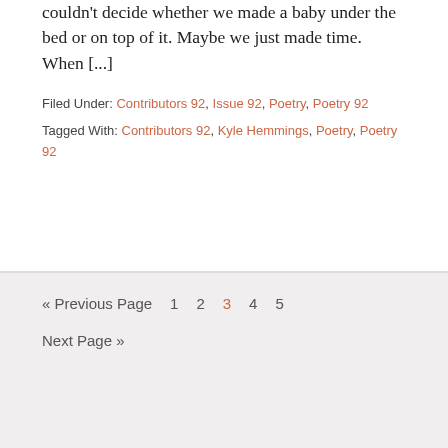couldn't decide whether we made a baby under the bed or on top of it. Maybe we just made time. When [...]
Filed Under: Contributors 92, Issue 92, Poetry, Poetry 92
Tagged With: Contributors 92, Kyle Hemmings, Poetry, Poetry 92
« Previous Page  1  2  3  4  5  Next Page »